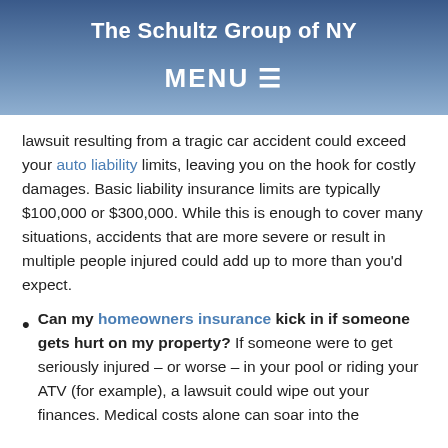The Schultz Group of NY
MENU
lawsuit resulting from a tragic car accident could exceed your auto liability limits, leaving you on the hook for costly damages. Basic liability insurance limits are typically $100,000 or $300,000. While this is enough to cover many situations, accidents that are more severe or result in multiple people injured could add up to more than you'd expect.
Can my homeowners insurance kick in if someone gets hurt on my property? If someone were to get seriously injured – or worse – in your pool or riding your ATV (for example), a lawsuit could wipe out your finances. Medical costs alone can soar into the